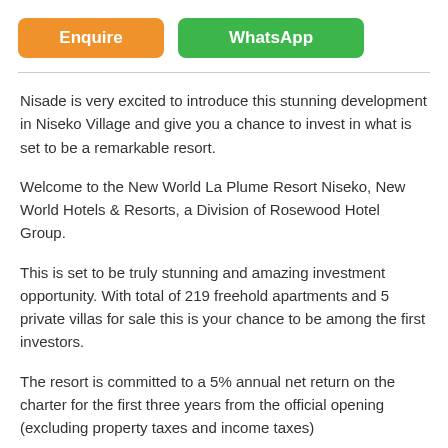[Figure (other): Two buttons: orange 'Enquire' button and green 'WhatsApp' button]
Nisade is very excited to introduce this stunning development in Niseko Village and give you a chance to invest in what is set to be a remarkable resort.
Welcome to the New World La Plume Resort Niseko, New World Hotels & Resorts, a Division of Rosewood Hotel Group.
This is set to be truly stunning and amazing investment opportunity. With total of 219 freehold apartments and 5 private villas for sale this is your chance to be among the first investors.
The resort is committed to a 5% annual net return on the charter for the first three years from the official opening (excluding property taxes and income taxes)